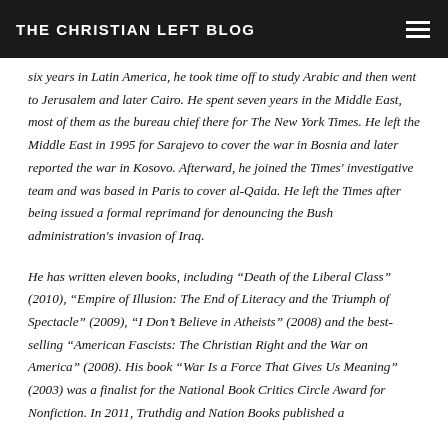THE CHRISTIAN LEFT BLOG
six years in Latin America, he took time off to study Arabic and then went to Jerusalem and later Cairo. He spent seven years in the Middle East, most of them as the bureau chief there for The New York Times. He left the Middle East in 1995 for Sarajevo to cover the war in Bosnia and later reported the war in Kosovo. Afterward, he joined the Times' investigative team and was based in Paris to cover al-Qaida. He left the Times after being issued a formal reprimand for denouncing the Bush administration's invasion of Iraq.
He has written eleven books, including “Death of the Liberal Class” (2010), “Empire of Illusion: The End of Literacy and the Triumph of Spectacle” (2009), “I Don’t Believe in Atheists” (2008) and the best-selling “American Fascists: The Christian Right and the War on America” (2008). His book “War Is a Force That Gives Us Meaning” (2003) was a finalist for the National Book Critics Circle Award for Nonfiction. In 2011, Truthdig and Nation Books published a